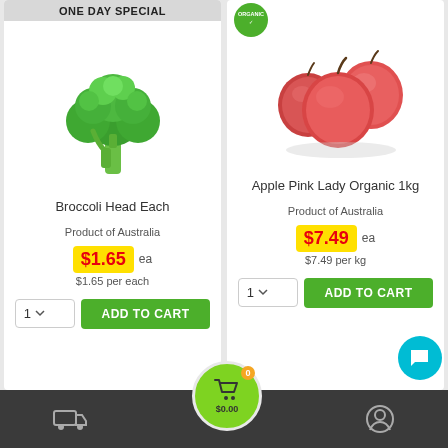ONE DAY SPECIAL
[Figure (photo): Broccoli Head — fresh green broccoli vegetable]
Broccoli Head Each
Product of Australia
$1.65 ea
$1.65 per each
[Figure (photo): Apple Pink Lady Organic — pile of red/pink apples with Organic badge]
Apple Pink Lady Organic 1kg
Product of Australia
$7.49 ea
$7.49 per kg
$0.00